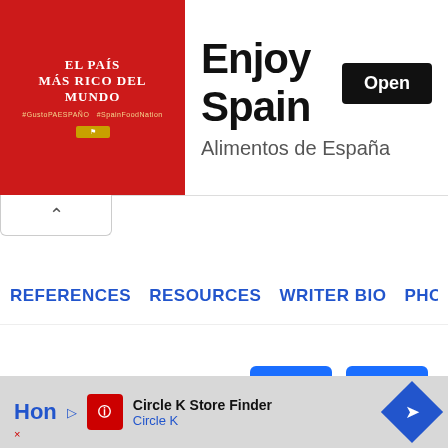[Figure (screenshot): Advertisement banner for 'Alimentos de España' / Enjoy Spain with red background image on left and text/button on right]
Did you find this page helpful?
REFERENCES  RESOURCES  WRITER BIO  PHOTO
[Figure (screenshot): Bottom advertisement strip: Circle K Store Finder ad with logo, text and navigation diamond icon]